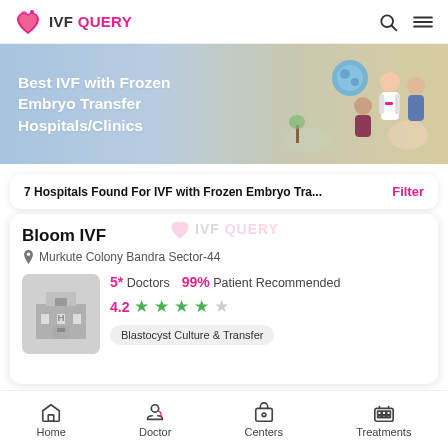IVF QUERY
[Figure (illustration): Banner with text 'Best IVF with Frozen Embryo Transfer Hospitals/Clinics' on blue-to-beige gradient background with cartoon illustration of doctor and patient couple with embryo graphic]
7 Hospitals Found For IVF with Frozen Embryo Tra...   Filter
Bloom IVF
Murkute Colony Bandra Sector-44
5* Doctors   99% Patient Recommended
4.2 ★★★★☆
Blastocyst Culture & Transfer
Home   Doctor   Centers   Treatments